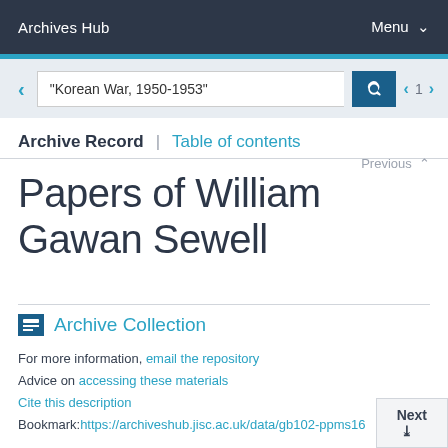Archives Hub    Menu
"Korean War, 1950-1953"
Archive Record  |  Table of contents
Previous
Papers of William Gawan Sewell
Archive Collection
For more information, email the repository
Advice on accessing these materials
Cite this description
Bookmark:https://archiveshub.jisc.ac.uk/data/gb102-ppms16
Next